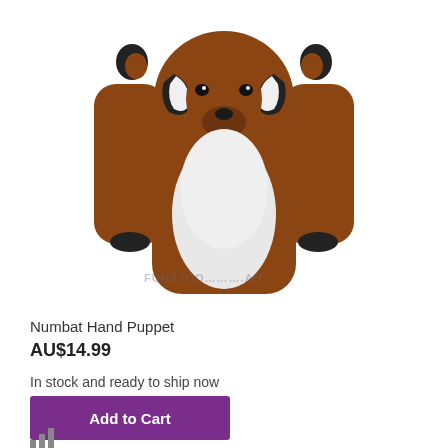[Figure (photo): A numbat hand puppet made of brown and white plush fur, with black and white facial markings, shown from the front with arms raised. Watermark text partially visible at the bottom of the image.]
Numbat Hand Puppet
AU$14.99
In stock and ready to ship now
Add to Cart